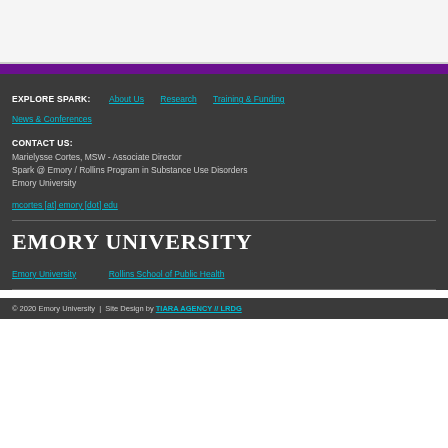EXPLORE SPARK: About Us  Research  Training & Funding  News & Conferences
CONTACT US:
Marielysse Cortes, MSW - Associate Director
Spark @ Emory / Rollins Program in Substance Use Disorders
Emory University
mcortes [at] emory [dot] edu
EMORY UNIVERSITY
Emory University   Rollins School of Public Health
© 2020 Emory University  |  Site Design by TIARA AGENCY // LRDG